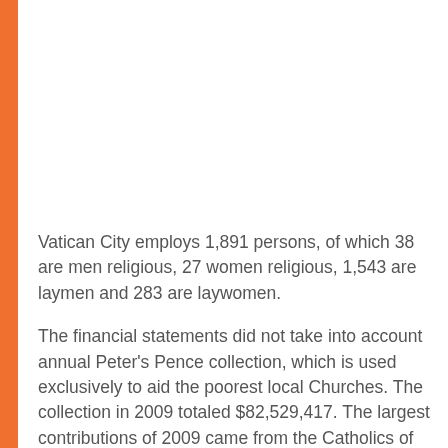Vatican City employs 1,891 persons, of which 38 are men religious, 27 women religious, 1,543 are laymen and 283 are laywomen.
The financial statements did not take into account annual Peter's Pence collection, which is used exclusively to aid the poorest local Churches. The collection in 2009 totaled $82,529,417. The largest contributions of 2009 came from the Catholics of the United States, Italy, and Europe, with significant